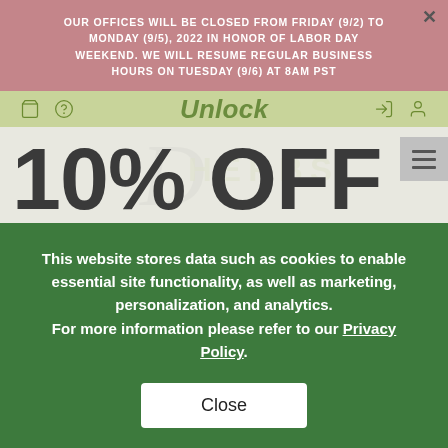OUR OFFICES WILL BE CLOSED FROM FRIDAY (9/2) TO MONDAY (9/5), 2022 IN HONOR OF LABOR DAY WEEKEND. WE WILL RESUME REGULAR BUSINESS HOURS ON TUESDAY (9/6) AT 8AM PST
Unlock
[Figure (other): D Herbs logo watermark with large italic D and HERBS text, overlaid with 10% OFF Your order promotional text]
This website stores data such as cookies to enable essential site functionality, as well as marketing, personalization, and analytics. For more information please refer to our Privacy Policy.
Close